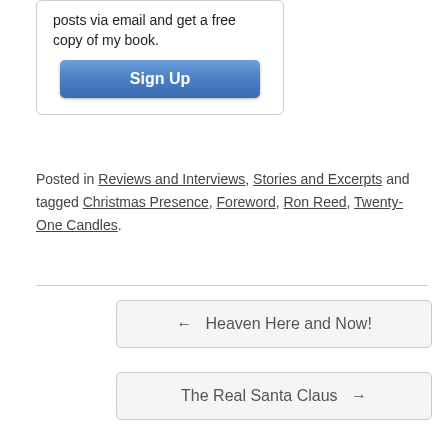posts via email and get a free copy of my book.
[Figure (other): Sign Up button (blue rounded rectangle)]
Posted in Reviews and Interviews, Stories and Excerpts and tagged Christmas Presence, Foreword, Ron Reed, Twenty-One Candles.
← Heaven Here and Now!
The Real Santa Claus →